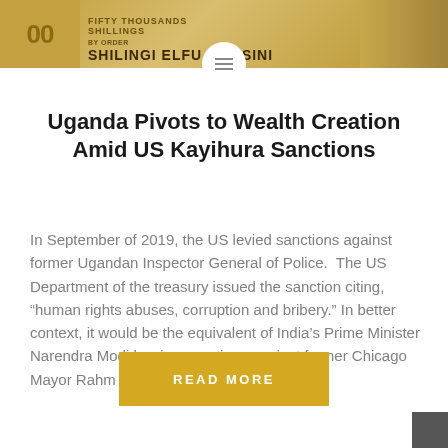[Figure (photo): Header image showing Ugandan currency banknote with text 'SHILINGI ELFU HAMSINI' and decorative elements in golden/yellow tones]
Uganda Pivots to Wealth Creation Amid US Kayihura Sanctions
In September of 2019, the US levied sanctions against former Ugandan Inspector General of Police.  The US Department of the treasury issued the sanction citing, “human rights abuses, corruption and bribery.” In better context, it would be the equivalent of India’s Prime Minister Narendra Modi levying sanctions against former Chicago Mayor Rahm Emanuel for human…
READ MORE